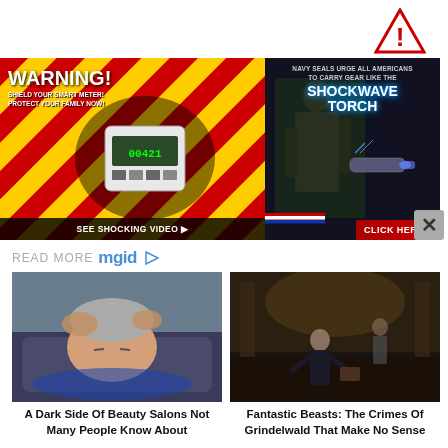[Figure (other): Report Abuse button with red triangle warning icon and text 'Report Abuse']
[Figure (other): Advertisement: WARNING! SHIELD YOUR SMART METER! PROTECT YOUR FAMILY NOW! with image of smart meter on red/yellow warning stripes, SEE SHOCKING VIDEO button]
[Figure (other): Advertisement: NAVY SEALS URGE ALL AMERICANS TO CARRY GEAR LIKE THE SHOCKWAVE TORCH with soldier and flashlight image, CLICK HERE button]
READ MORE mgid
[Figure (photo): Photo of woman getting hair washed at a beauty salon, leaning back at a sink]
[Figure (photo): Movie still from Fantastic Beasts: The Crimes of Grindelwald showing actor running in a grand interior]
A Dark Side Of Beauty Salons Not Many People Know About
Fantastic Beasts: The Crimes Of Grindelwald That Make No Sense